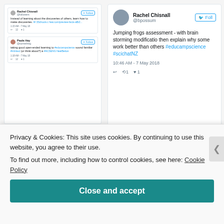[Figure (screenshot): Screenshot of Twitter/social media posts: Left panel shows two small tweets (Rachel Chisnall and Paula Hay about learning and discoveries). Right panel shows a larger tweet from Rachel Chisnall (@bpossum) about 'Jumping frogs assessment - with brain storming modification then explain why some work better than others #educampscience #scichatNZ', posted 10:46 AM - 7 May 2018.]
Then I went to Ruby's session on OneNote. She really is a super star and does super things with her learning programs. My favourite quote from her presentation
Privacy & Cookies: This site uses cookies. By continuing to use this website, you agree to their use.
To find out more, including how to control cookies, see here: Cookie Policy
Close and accept